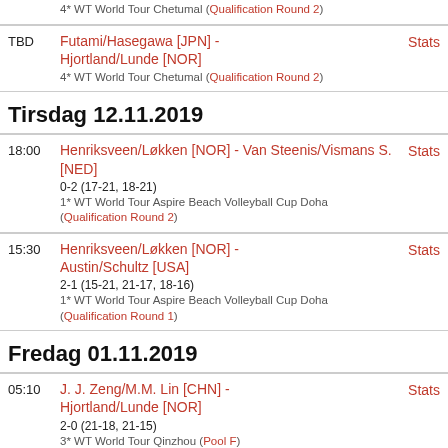4* WT World Tour Chetumal (Qualification Round 2)
TBD — Futami/Hasegawa [JPN] - Hjortland/Lunde [NOR] — Stats
4* WT World Tour Chetumal (Qualification Round 2)
Tirsdag 12.11.2019
18:00 — Henriksveen/Løkken [NOR] - Van Steenis/Vismans S. [NED] — Stats
0-2 (17-21, 18-21)
1* WT World Tour Aspire Beach Volleyball Cup Doha (Qualification Round 2)
15:30 — Henriksveen/Løkken [NOR] - Austin/Schultz [USA] — Stats
2-1 (15-21, 21-17, 18-16)
1* WT World Tour Aspire Beach Volleyball Cup Doha (Qualification Round 1)
Fredag 01.11.2019
05:10 — J. J. Zeng/M.M. Lin [CHN] - Hjortland/Lunde [NOR] — Stats
2-0 (21-18, 21-15)
3* WT World Tour Qinzhou (Pool F)